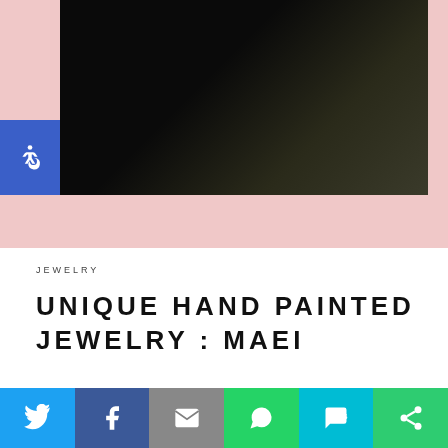[Figure (photo): Dark/black photo of a model or fashion subject, partially visible in upper portion of page]
[Figure (logo): Blue square accessibility icon (wheelchair symbol)]
JEWELRY
UNIQUE HAND PAINTED JEWELRY : MAEI
Not only is every fashion girl (thanks, Who What Wear) wearing hand painted jewelry, but there’s a good reason! Hand-painted jewelry is on-trend for a mil other reasons. How many etsy or local artisans are you so in love with? The vibe you get
[Figure (infographic): Social share bar with buttons: Twitter (blue), Facebook (dark blue), Email (grey), WhatsApp (green), SMS (teal), More (green)]